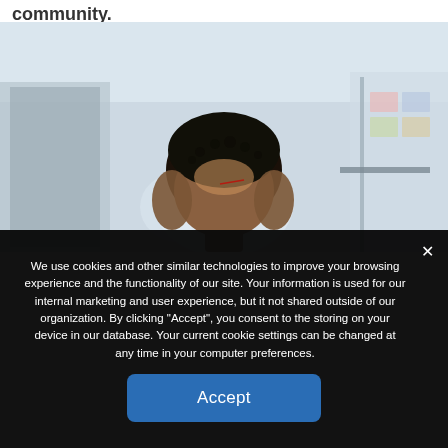community.
[Figure (photo): A person (top of head visible) in a blurred office environment with glass walls and sticky notes in the background.]
We use cookies and other similar technologies to improve your browsing experience and the functionality of our site. Your information is used for our internal marketing and user experience, but it not shared outside of our organization. By clicking "Accept", you consent to the storing on your device in our database. Your current cookie settings can be changed at any time in your computer preferences.
Accept